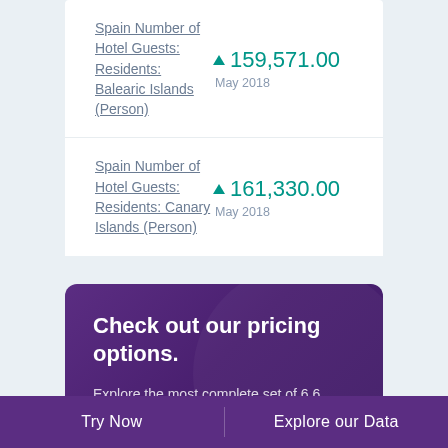Spain Number of Hotel Guests: Residents: Balearic Islands (Person)
▲ 159,571.00
May 2018
Spain Number of Hotel Guests: Residents: Canary Islands (Person)
▲ 161,330.00
May 2018
Check out our pricing options.
Explore the most complete set of 6.6 million time series covering more than 200 economies, 20 industries and 18 macroeconomic sectors.
Try Now
Explore our Data